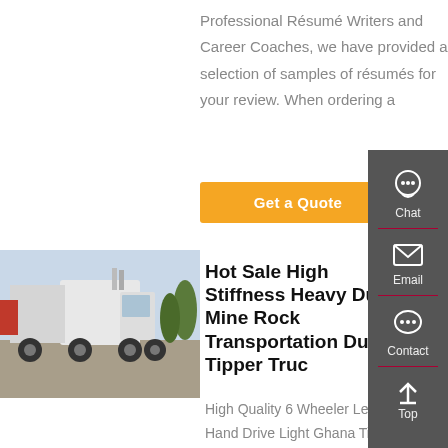Professional Résumé Writers and Career Coaches, we have provided a selection of samples of résumés for your review. When ordering a
Get a Quote
[Figure (photo): White heavy duty truck/tractor unit parked outdoors with trees in background]
Hot Sale High Stiffness Heavy Duty Mine Rock Transportation Dump Tipper Truck
High Quality 6 Wheeler Left Hand Drive Light Ghana Tipper